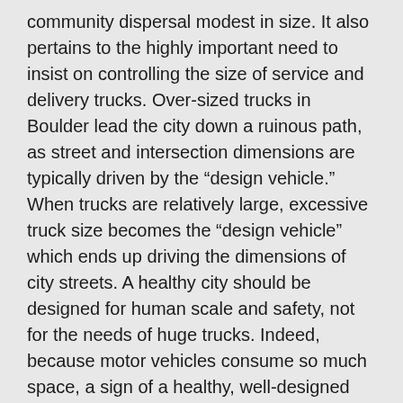community dispersal modest in size. It also pertains to the highly important need to insist on controlling the size of service and delivery trucks. Over-sized trucks in Boulder lead the city down a ruinous path, as street and intersection dimensions are typically driven by the “design vehicle.” When trucks are relatively large, excessive truck size becomes the “design vehicle” which ends up driving the dimensions of city streets. A healthy city should be designed for human scale and safety, not for the needs of huge trucks. Indeed, because motor vehicles consume so much space, a sign of a healthy, well-designed community is that drivers of vehicles should feel inconvenienced. If driving vehicles feels comfortable, it is a signal that we have over-designed streets and allocated such excessive spaces that we have lost human scale and safety.
A proposal for human-scaled streets: in Boulder’s town